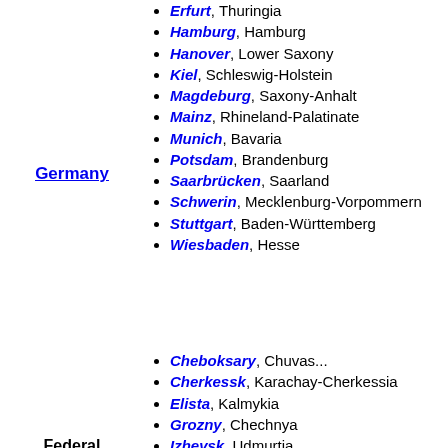Germany
Erfurt, Thuringia
Hamburg, Hamburg
Hanover, Lower Saxony
Kiel, Schleswig-Holstein
Magdeburg, Saxony-Anhalt
Mainz, Rhineland-Palatinate
Munich, Bavaria
Potsdam, Brandenburg
Saarbrücken, Saarland
Schwerin, Mecklenburg-Vorpommern
Stuttgart, Baden-Württemberg
Wiesbaden, Hesse
Federal states
Cheboksary, Chuvas...
Cherkessk, Karachay-Cherkessia
Elista, Kalmykia
Grozny, Chechnya
Izhevsk, Udmurtia
Kazan, Tatarstan
Magas, Ingushetia
Makhachkala, Dage...
Maykop, Adygea
Nalchik, Kabardino...